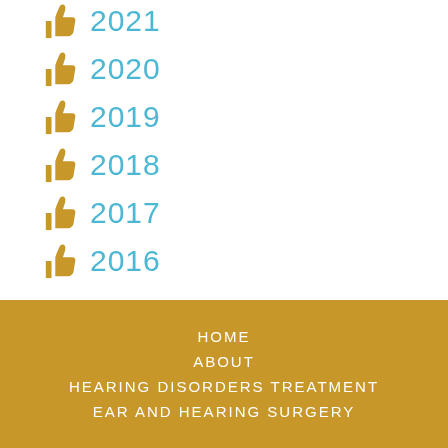2021
2020
2019
2018
2017
2016
HOME
ABOUT
HEARING DISORDERS TREATMENT
EAR AND HEARING SURGERY